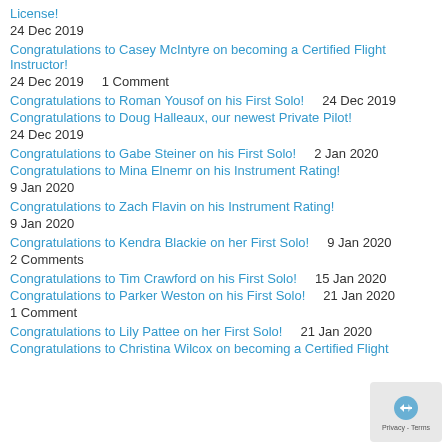License!
24 Dec 2019
Congratulations to Casey McIntyre on becoming a Certified Flight Instructor!
24 Dec 2019    1 Comment
Congratulations to Roman Yousof on his First Solo!    24 Dec 2019
Congratulations to Doug Halleaux, our newest Private Pilot!
24 Dec 2019
Congratulations to Gabe Steiner on his First Solo!    2 Jan 2020
Congratulations to Mina Elnemr on his Instrument Rating!
9 Jan 2020
Congratulations to Zach Flavin on his Instrument Rating!
9 Jan 2020
Congratulations to Kendra Blackie on her First Solo!    9 Jan 2020
2 Comments
Congratulations to Tim Crawford on his First Solo!    15 Jan 2020
Congratulations to Parker Weston on his First Solo!    21 Jan 2020
1 Comment
Congratulations to Lily Pattee on her First Solo!    21 Jan 2020
Congratulations to Christina Wilcox on becoming a Certified Flight